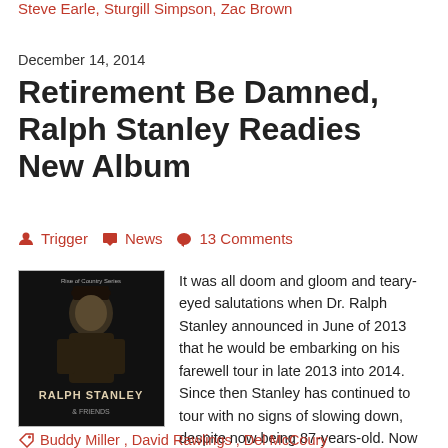Steve Earle, Sturgill Simpson, Zac Brown
December 14, 2014
Retirement Be Damned, Ralph Stanley Readies New Album
Trigger   News   13 Comments
[Figure (photo): Album cover for Ralph Stanley showing an elderly man seated, with text 'RALPH STANLEY' prominently displayed on a dark background]
It was all doom and gloom and teary-eyed salutations when Dr. Ralph Stanley announced in June of 2013 that he would be embarking on his farewell tour in late 2013 into 2014. Since then Stanley has continued to tour with no signs of slowing down, despite now being 87-years-old. Now Dr. Stanley has a new album in the works.
Buddy Miller, David Rawlings, Del McCoury